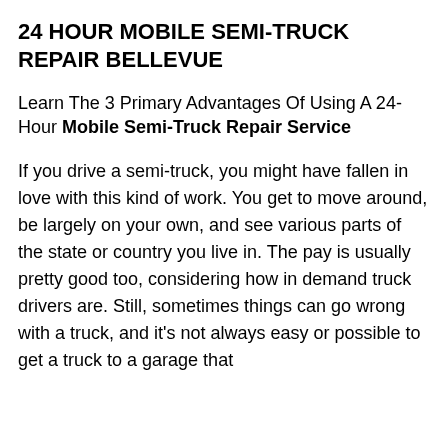24 HOUR MOBILE SEMI-TRUCK REPAIR BELLEVUE
Learn The 3 Primary Advantages Of Using A 24-Hour Mobile Semi-Truck Repair Service
If you drive a semi-truck, you might have fallen in love with this kind of work. You get to move around, be largely on your own, and see various parts of the state or country you live in. The pay is usually pretty good too, considering how in demand truck drivers are. Still, sometimes things can go wrong with a truck, and it's not always easy or possible to get a truck to a garage that